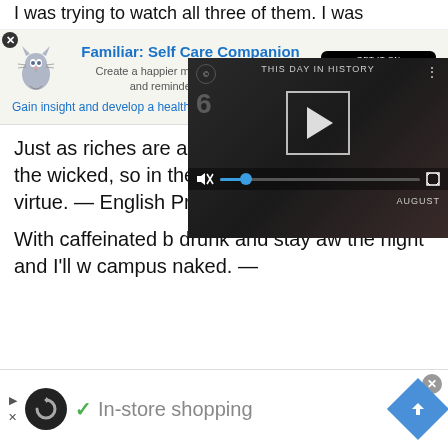I was trying to watch all three of them. I was
[Figure (screenshot): App advertisement banner for 'Familiar: Self Care Companion' with a cat illustration and Google Play button]
Just as riches are an impediment to virtue in the wicked, so in the good they are an aid of virtue. — English Proverbs
[Figure (screenshot): Video player overlay showing 'THIS DAY IN HISTORY' with play button, AUGUST label, mute icon, progress bar with blue dot, and fullscreen icon]
With caffeinated b drunk and stay aw the night and I'll w campus naked. —
[Figure (screenshot): Bottom advertisement banner with loop icon, checkmark, 'In-store shopping' text, and a blue navigation diamond arrow icon]